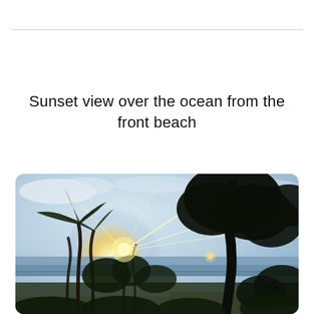Sunset view over the ocean from the front beach
[Figure (photo): Sunset view over the ocean from the front beach. Palm trees and tropical vegetation are silhouetted against a bright glowing sunset. The ocean is visible in the background with dramatic sunlight rays streaming through the trees. A large dark tree silhouette is on the right side.]